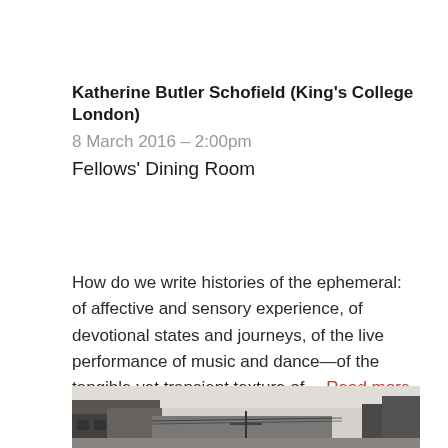Katherine Butler Schofield (King's College London)
8 March 2016 – 2:00pm
Fellows' Dining Room
Podcast
How do we write histories of the ephemeral: of affective and sensory experience, of devotional states and journeys, of the live performance of music and dance—of the tangible yet transient texture of... Read more
[Figure (photo): Black and white photograph of buildings and street scene]